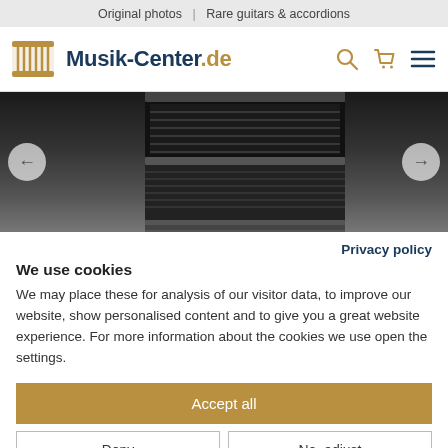Original photos | Rare guitars & accordions
Musik-Center.de
[Figure (photo): Close-up photo of a black accordion or keyboard instrument, showing the grille and body, displayed on the Musik-Center.de product page.]
Privacy policy
We use cookies
We may place these for analysis of our visitor data, to improve our website, show personalised content and to give you a great website experience. For more information about the cookies we use open the settings.
Accept all
Deny
No, adjust